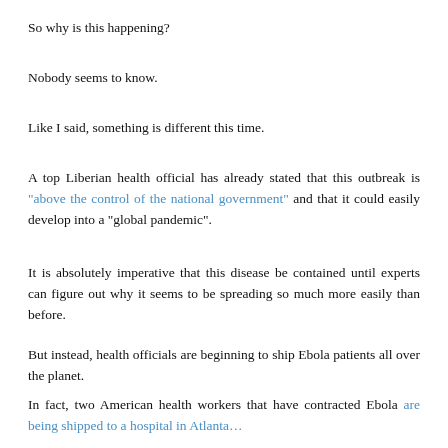So why is this happening?
Nobody seems to know.
Like I said, something is different this time.
A top Liberian health official has already stated that this outbreak is "above the control of the national government" and that it could easily develop into a "global pandemic".
It is absolutely imperative that this disease be contained until experts can figure out why it seems to be spreading so much more easily than before.
But instead, health officials are beginning to ship Ebola patients all over the planet.
In fact, two American health workers that have contracted Ebola are being shipped to a hospital in Atlanta...
Two American medical missionaries diagnosed with the